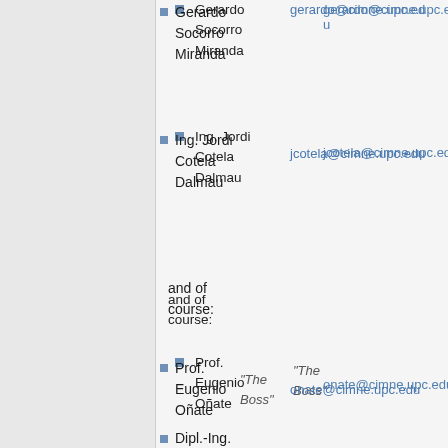Gerardo Socorro Miranda
Ing. Jordi Cotela Dalmau
and of course:
Prof. Eugenio Oñate
In Bochum (Germany):
Dipl.-Ing.